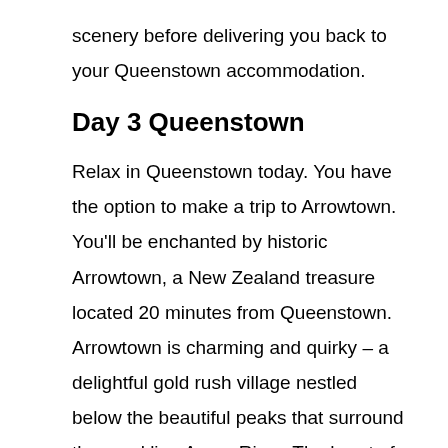scenery before delivering you back to your Queenstown accommodation.
Day 3 Queenstown
Relax in Queenstown today. You have the option to make a trip to Arrowtown. You'll be enchanted by historic Arrowtown, a New Zealand treasure located 20 minutes from Queenstown. Arrowtown is charming and quirky – a delightful gold rush village nestled below the beautiful peaks that surround the sparkling Arrow River. The heart of its history is Buckingham Street, a procession of heritage buildings that stretches into a tree-lined avenue of tiny miner's cottages. The buildings in this lovely precinct house shops, galleries,